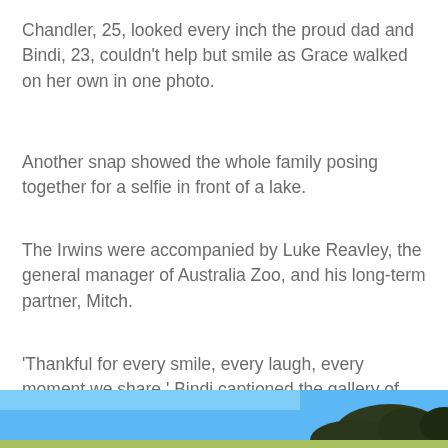Chandler, 25, looked every inch the proud dad and Bindi, 23, couldn't help but smile as Grace walked on her own in one photo.
Another snap showed the whole family posing together for a selfie in front of a lake.
The Irwins were accompanied by Luke Reavley, the general manager of Australia Zoo, and his long-term partner, Mitch.
'Thankful for every smile, every laugh, every moment we share,' Bindi captioned the gallery of heart-melting pictures.
[Figure (photo): Partial photo showing blue sky and tree tops at the bottom of the page]